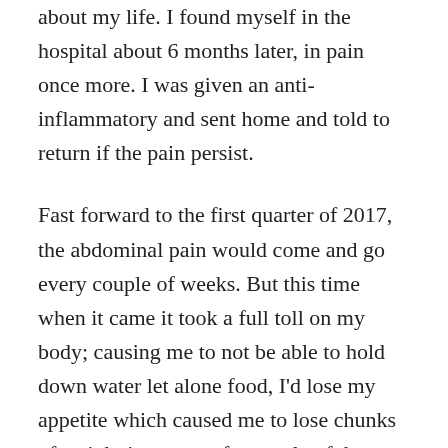about my life. I found myself in the hospital about 6 months later, in pain once more. I was given an anti-inflammatory and sent home and told to return if the pain persist.
Fast forward to the first quarter of 2017, the abdominal pain would come and go every couple of weeks. But this time when it came it took a full toll on my body; causing me to not be able to hold down water let alone food, I'd lose my appetite which caused me to lose chunks of weight in a span of a couple of days, I'd stay in bed in tears in excruciating pain, not being able to get up to start my day.
August of 2017 is when I found out that this cyst had grown into a mass. So now instead of a sack